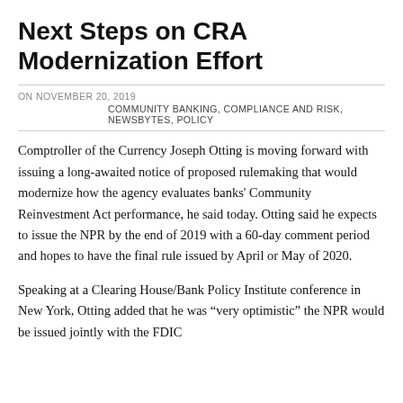Next Steps on CRA Modernization Effort
ON NOVEMBER 20, 2019
COMMUNITY BANKING, COMPLIANCE AND RISK, NEWSBYTES, POLICY
Comptroller of the Currency Joseph Otting is moving forward with issuing a long-awaited notice of proposed rulemaking that would modernize how the agency evaluates banks' Community Reinvestment Act performance, he said today. Otting said he expects to issue the NPR by the end of 2019 with a 60-day comment period and hopes to have the final rule issued by April or May of 2020.
Speaking at a Clearing House/Bank Policy Institute conference in New York, Otting added that he was "very optimistic" the NPR would be issued jointly with the FDIC…